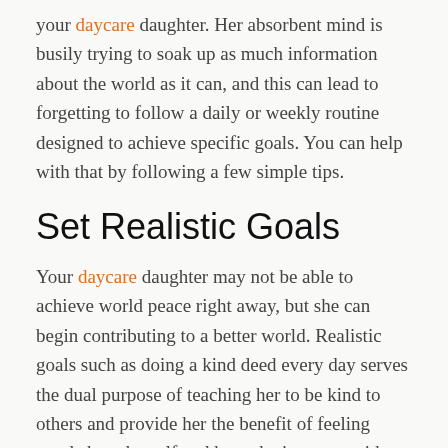your daycare daughter. Her absorbent mind is busily trying to soak up as much information about the world as it can, and this can lead to forgetting to follow a daily or weekly routine designed to achieve specific goals. You can help with that by following a few simple tips.
Set Realistic Goals
Your daycare daughter may not be able to achieve world peace right away, but she can begin contributing to a better world. Realistic goals such as doing a kind deed every day serves the dual purpose of teaching her to be kind to others and provide her the benefit of feeling good about herself and how she interacts with the world.